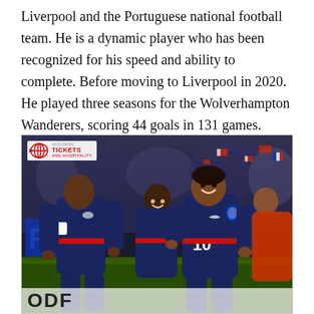Liverpool and the Portuguese national football team. He is a dynamic player who has been recognized for his speed and ability to complete. Before moving to Liverpool in 2020. He played three seasons for the Wolverhampton Wanderers, scoring 44 goals in 131 games.
[Figure (photo): Three football players in dark navy blue French national team jerseys celebrating together on a stadium pitch. The player on the right wears jersey number 10. A 'Worldwide Tickets and Hospitality' watermark logo is visible in the top left. The letters 'ODF' or similar are partially visible at the bottom.]